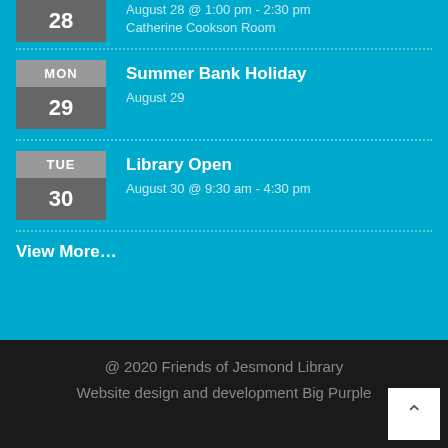28 | August 28 @ 1:00 pm - 2:30 pm | Catherine Cookson Room
MON 29 | Summer Bank Holiday | August 29
TUE 30 | Library Open | August 30 @ 9:30 am - 4:30 pm
View More…
@ 2020 Friends of Jesmond Library
Website design and development Big Purple